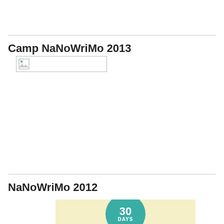Camp NaNoWriMo 2013
[Figure (illustration): Broken image placeholder with small image icon, inside a bordered rectangle]
NaNoWriMo 2012
[Figure (illustration): Partial view of a light yellow background with a teal circle showing '30 DAYS' text]